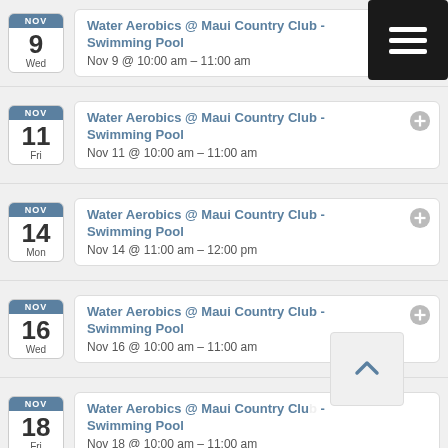Water Aerobics @ Maui Country Club - Swimming Pool | Nov 9 @ 10:00 am – 11:00 am | NOV 9 Wed
Water Aerobics @ Maui Country Club - Swimming Pool | Nov 11 @ 10:00 am – 11:00 am | NOV 11 Fri
Water Aerobics @ Maui Country Club - Swimming Pool | Nov 14 @ 11:00 am – 12:00 pm | NOV 14 Mon
Water Aerobics @ Maui Country Club - Swimming Pool | Nov 16 @ 10:00 am – 11:00 am | NOV 16 Wed
Water Aerobics @ Maui Country Club - Swimming Pool | Nov 18 @ 10:00 am – 11:00 am | NOV 18 Fri
NOV (partial row)